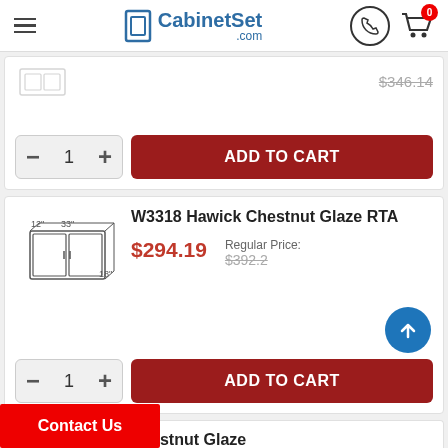CabinetSet.com
$346.14 (strikethrough)
ADD TO CART
W3318 Hawick Chestnut Glaze RTA
$294.19
Regular Price: $392.2
ADD TO CART
W3618 Hawick Chestnut Glaze
Contact Us